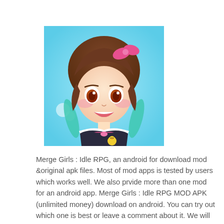[Figure (illustration): Anime-style chibi girl with brown hair and pink bow, wearing a dark school uniform with a pink bow tie and a small yellow chick accessory, on a light blue background with hearts.]
Merge Girls : Idle RPG, an android for download mod &original apk files. Most of mod apps is tested by users which works well. We also prvide more than one mod for an android app. Merge Girls : Idle RPG MOD APK (unlimited money) download on android. You can try out which one is best or leave a comment about it. We will recommend Merge Girls : Idle RPG the best mod to the users. CamilaAPK aims to provide 100% working mods to users.